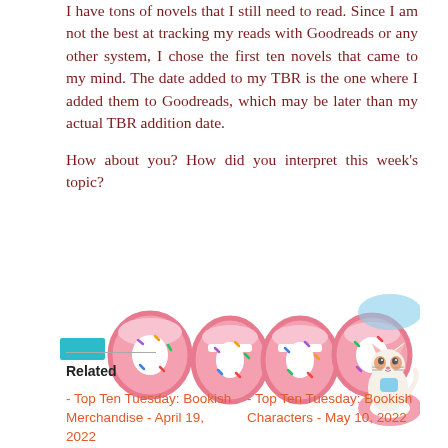I have tons of novels that I still need to read. Since I am not the best at tracking my reads with Goodreads or any other system, I chose the first ten novels that came to my mind. The date added to my TBR is the one where I added them to Goodreads, which may be later than my actual TBR addition date.

How about you? How did you interpret this week's topic?
[Figure (illustration): Cartoon donut-shaped letters spelling 'etta' with pink frosting and sprinkles, alongside a cute cartoon cat sitting on a donut float. A teal/cyan rectangle appears to the left of the letters.]
Related
- Top Ten Tuesday: Bookish Merchandise - April 19, 2022
- Top Ten Tuesday: Bookish Characters - May 10, 2022